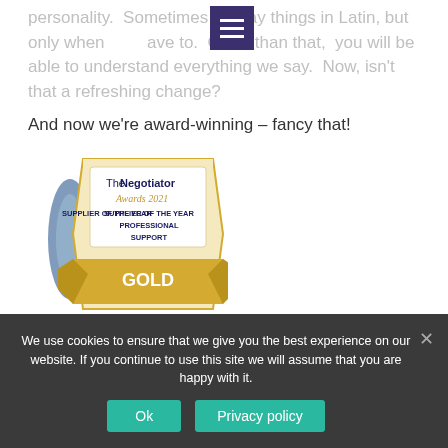personality.  Sometimes we say things in Latin, but only when we have to.  Other than that,  you will be able to understand everything we say.  Now, isn't that a refreshing change?
And now we're award-winning – fancy that!
[Figure (logo): The Negotiator Awards 2021 – Supplier of the Year Professional Support – GOLD badge with a trophy figure]
We use cookies to ensure that we give you the best experience on our website. If you continue to use this site we will assume that you are happy with it.